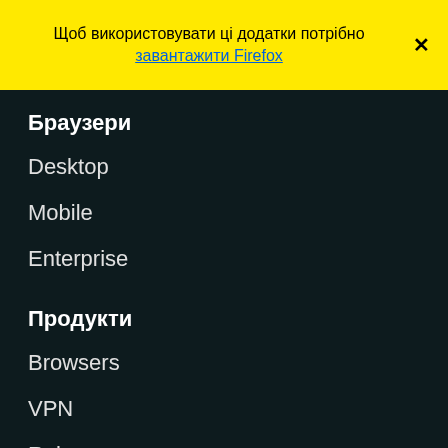Щоб використовувати ці додатки потрібно завантажити Firefox
Браузери
Desktop
Mobile
Enterprise
Продукти
Browsers
VPN
Relay
Monitor